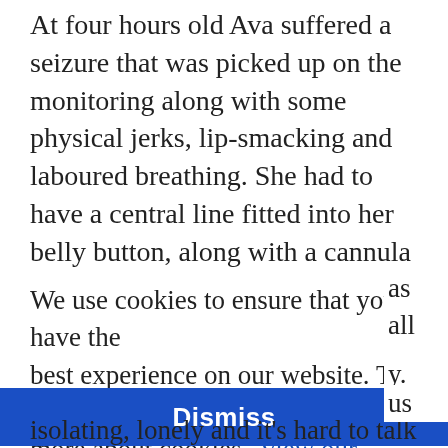At four hours old Ava suffered a seizure that was picked up on the monitoring along with some physical jerks, lip-smacking and laboured breathing. She had to have a central line fitted into her belly button, along with a cannula in her hand and an NG tube for feeds. Ava extubated herself at around five hours old, so was then given nasal prongs for oxygen, but she didn't tolerate this very well.
We use cookies to ensure that you have the best experience on our website. To learn more about cookies, view our cookie policy.
Dismiss
isolating, lonely and it's hard to talk to other